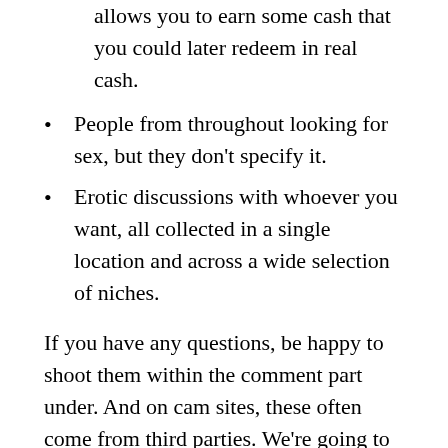allows you to earn some cash that you could later redeem in real cash.
People from throughout looking for sex, but they don't specify it.
Erotic discussions with whoever you want, all collected in a single location and across a wide selection of niches.
If you have any questions, be happy to shoot them within the comment part under. And on cam sites, these often come from third parties. We're going to shortly focus on the ins and outs, the yeses and no's of getting it on in a webcam surroundings. And, above all, we're going to tell you how to stay protected whereas you're having